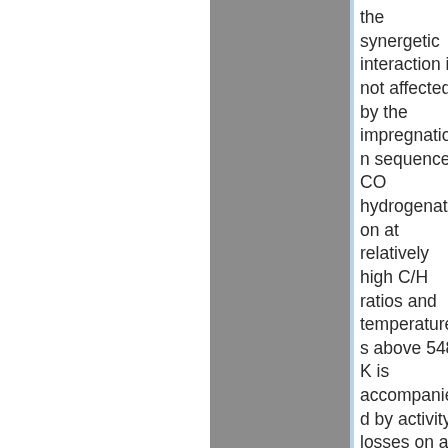the synergetic interaction is not affected by the impregnation sequence. CO hydrogenation at relatively high C/H ratios and temperatures above 548 K is accompanied by activity losses on all samples due to carbon deposition. Although there is no significant relation between carbon deposition and C-2-C-4 selectivities, a positive effect of